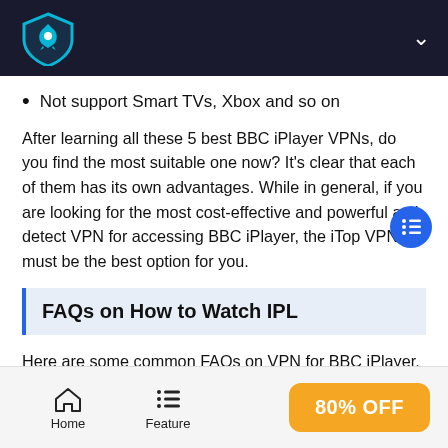iTop VPN logo header
Not support Smart TVs, Xbox and so on
After learning all these 5 best BBC iPlayer VPNs, do you find the most suitable one now? It's clear that each of them has its own advantages. While in general, if you are looking for the most cost-effective and powerful anti-detect VPN for accessing BBC iPlayer, the iTop VPN must be the best option for you.
FAQs on How to Watch IPL
Here are some common FAQs on VPN for BBC iPlayer, you can have a look if necessary.
Home   Feature   80% OFF